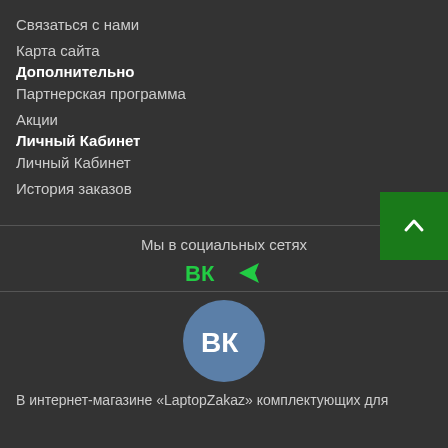Связаться с нами
Карта сайта
Дополнительно
Партнерская программа
Акции
Личный Кабинет
Личный Кабинет
История заказов
Мы в социальных сетях
[Figure (logo): VK and Telegram social media icons in green]
[Figure (logo): VK logo large blue circle with white VK text]
В интернет-магазине «LaptopZakaz» комплектующих для